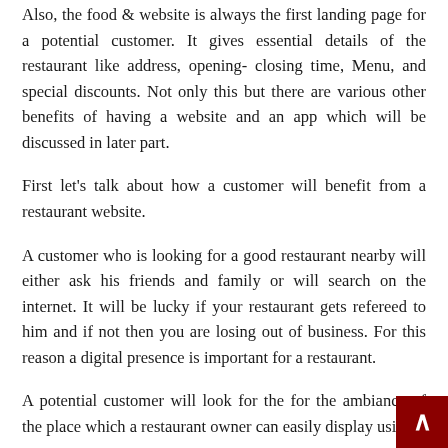Also, the food & website is always the first landing page for a potential customer. It gives essential details of the restaurant like address, opening- closing time, Menu, and special discounts. Not only this but there are various other benefits of having a website and an app which will be discussed in later part.
First let's talk about how a customer will benefit from a restaurant website.
A customer who is looking for a good restaurant nearby will either ask his friends and family or will search on the internet. It will be lucky if your restaurant gets refereed to him and if not then you are losing out of business. For this reason a digital presence is important for a restaurant.
A potential customer will look for the for the ambiance of the place which a restaurant owner can easily display using